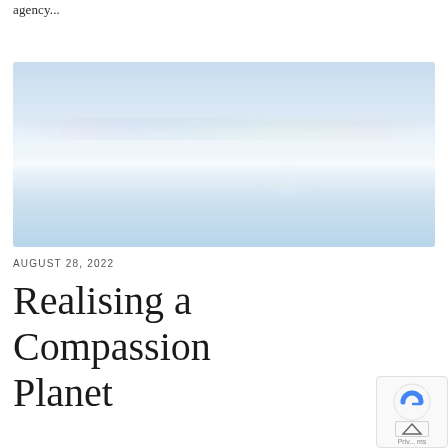agency...
[Figure (photo): Abstract soft blue sky photograph with a faint rainbow arc and a subtle yellow-white light glow near the center-right]
AUGUST 28, 2022
Realising a Compassion Planet